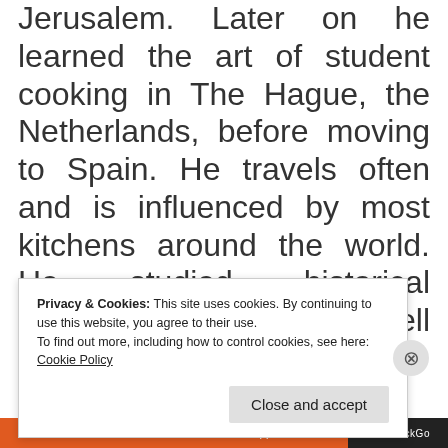Jerusalem. Later on he learned the art of student cooking in The Hague, the Netherlands, before moving to Spain. He travels often and is influenced by most kitchens around the world. He studied historical bassoon with Donna Agrell at the Royal Conservatory of
Privacy & Cookies: This site uses cookies. By continuing to use this website, you agree to their use.
To find out more, including how to control cookies, see here: Cookie Policy
Close and accept